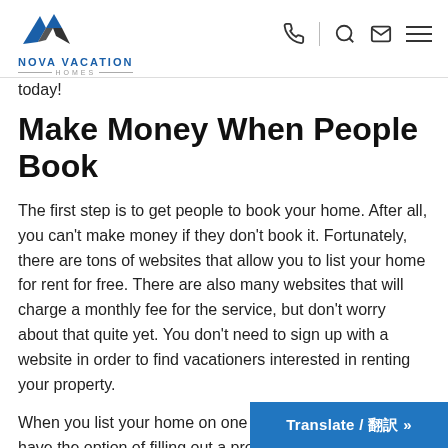Nova Vacation Homes
today!
Make Money When People Book
The first step is to get people to book your home. After all, you can't make money if they don't book it. Fortunately, there are tons of websites that allow you to list your home for rent for free. There are also many websites that will charge a monthly fee for the service, but don't worry about that quite yet. You don't need to sign up with a website in order to find vacationers interested in renting your property.
When you list your home on one of these sites, you may have the option of filling out a profile. This tells potential renters more about yo
Translate / 翻訳 »